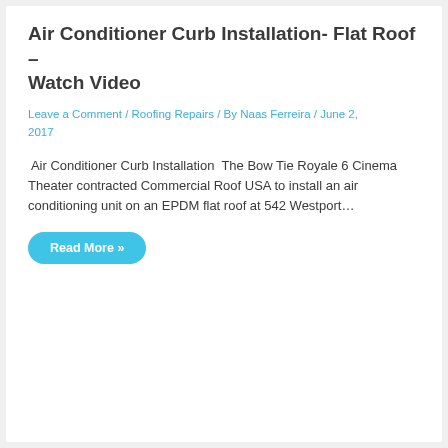Air Conditioner Curb Installation- Flat Roof – Watch Video
Leave a Comment / Roofing Repairs / By Naas Ferreira / June 2, 2017
Air Conditioner Curb Installation  The Bow Tie Royale 6 Cinema Theater contracted Commercial Roof USA to install an air conditioning unit on an EPDM flat roof at 542 Westport…
Read More »